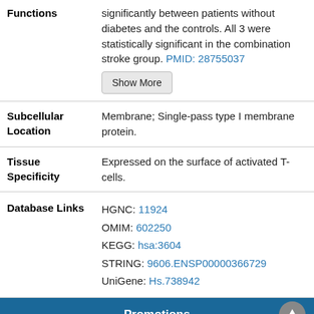| Field | Content |
| --- | --- |
| Functions | significantly between patients without diabetes and the controls. All 3 were statistically significant in the combination stroke group. PMID: 28755037 [Show More] |
| Subcellular Location | Membrane; Single-pass type I membrane protein. |
| Tissue Specificity | Expressed on the surface of activated T-cells. |
| Database Links | HGNC: 11924
OMIM: 602250
KEGG: hsa:3604
STRING: 9606.ENSP00000366729
UniGene: Hs.738942 |
Promotions
Fill in a
Leave a message